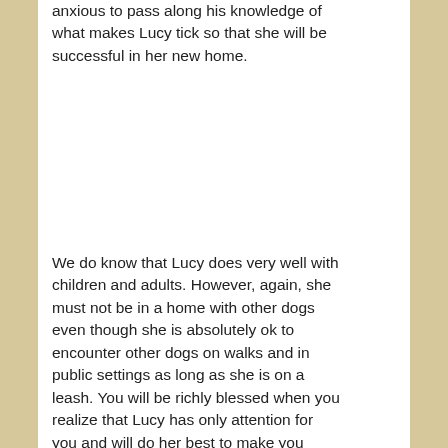anxious to pass along his knowledge of what makes Lucy tick so that she will be successful in her new home.
We do know that Lucy does very well with children and adults. However, again, she must not be in a home with other dogs even though she is absolutely ok to encounter other dogs on walks and in public settings as long as she is on a leash. You will be richly blessed when you realize that Lucy has only attention for you and will do her best to make you happy.